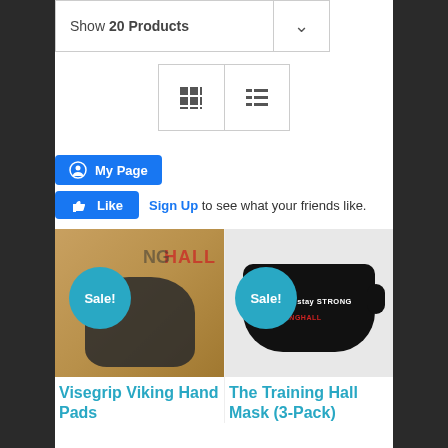Show 20 Products
[Figure (screenshot): View toggle buttons: grid view and list view icons]
[Figure (screenshot): Facebook My Page button and Like button with Sign Up prompt]
[Figure (photo): Visegrip Viking Hand Pads product image with Sale badge]
Visegrip Viking Hand Pads
[Figure (photo): The Training Hall Mask (3-Pack) product image with Sale badge]
The Training Hall Mask (3-Pack)